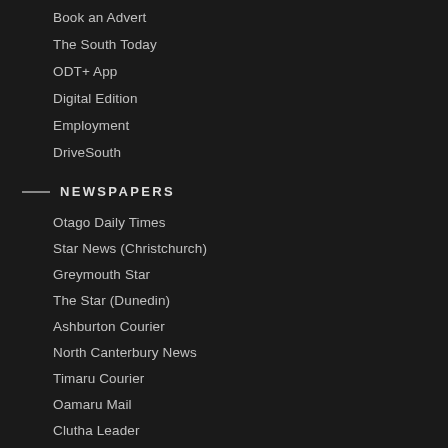Book an Advert
The South Today
ODT+ App
Digital Edition
Employment
DriveSouth
NEWSPAPERS
Otago Daily Times
Star News (Christchurch)
Greymouth Star
The Star (Dunedin)
Ashburton Courier
North Canterbury News
Timaru Courier
Oamaru Mail
Clutha Leader
The Gore Ensign